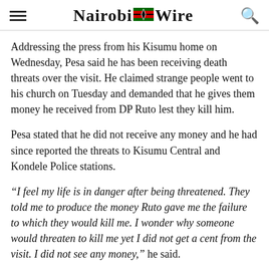Nairobi Wire
Addressing the press from his Kisumu home on Wednesday, Pesa said he has been receiving death threats over the visit. He claimed strange people went to his church on Tuesday and demanded that he gives them money he received from DP Ruto lest they kill him.
Pesa stated that he did not receive any money and he had since reported the threats to Kisumu Central and Kondele Police stations.
“I feel my life is in danger after being threatened. They told me to produce the money Ruto gave me the failure to which they would kill me. I wonder why someone would threaten to kill me yet I did not get a cent from the visit. I did not see any money,” he said.
Pesa added, “Ruto is a brother to me and he was correct when he did...